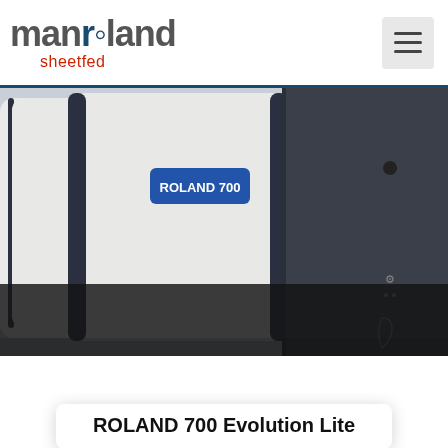[Figure (logo): manroland sheetfed logo — 'manroland' in bold grey with blue 'o', 'sheetfed' in red below]
[Figure (photo): Close-up photo of Roland 700 printing press machines in grey/dark-blue color scheme with 'ROLAND 700' label visible on the unit]
Close
This  you a  re
ROLAND 700 Evolution Lite